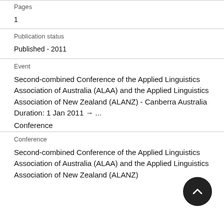Pages
1
Publication status
Published - 2011
Event
Second-combined Conference of the Applied Linguistics Association of Australia (ALAA) and the Applied Linguistics Association of New Zealand (ALANZ) - Canberra Australia
Duration: 1 Jan 2011 → ...
Conference
Conference
Second-combined Conference of the Applied Linguistics Association of Australia (ALAA) and the Applied Linguistics Association of New Zealand (ALANZ)